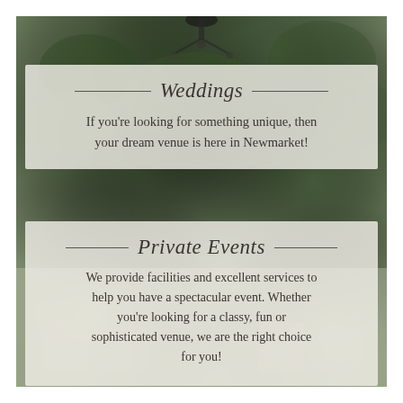[Figure (photo): Garden venue background with lush green foliage and a chandelier visible at the top, overlaid with two semi-transparent panels containing text about Weddings and Private Events.]
Weddings
If you're looking for something unique, then your dream venue is here in Newmarket!
Private Events
We provide facilities and excellent services to help you have a spectacular event. Whether you're looking for a classy, fun or sophisticated venue, we are the right choice for you!